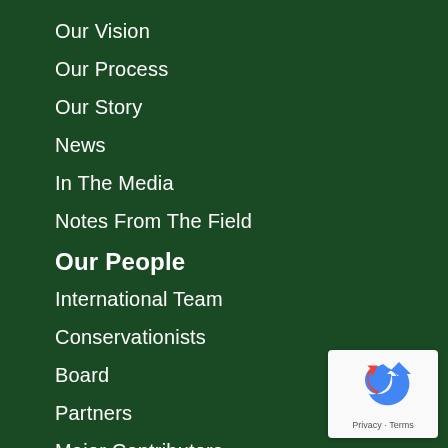Our Vision
Our Process
Our Story
News
In The Media
Notes From The Field
Our People
International Team
Conservationists
Board
Partners
Major Contributors
Connect
[Figure (logo): Google reCAPTCHA badge with recycle-arrows icon and Privacy - Terms text]